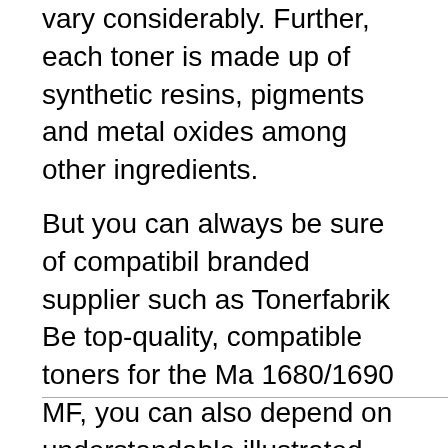vary considerably. Further, each toner is made up of synthetic resins, pigments and metal oxides among other ingredients.
But you can always be sure of compatibility branded supplier such as Tonerfabrik Be top-quality, compatible toners for the Ma 1680/1690 MF, you can also depend on understandable illustrated guide to refilling toner cartridges at the drop of a hat. Our specialists are also on hand by phone, e online chat if you still require technical su